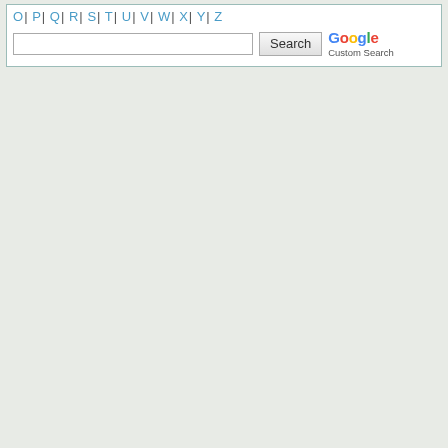O | P | Q | R | S | T | U | V | W | X | Y | Z
[Figure (screenshot): Google Custom Search box with a text input field, a Search button, and the Google Custom Search logo to the right.]